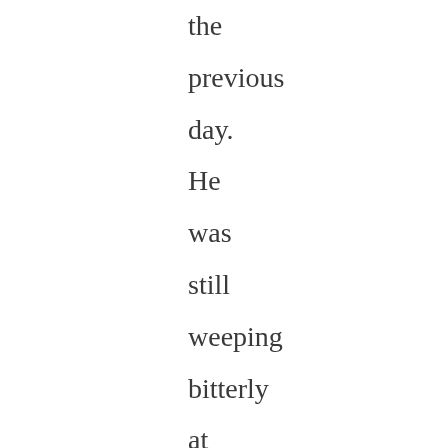the previous day. He was still weeping bitterly at this news as the cell door slammed behind him. Their trial was